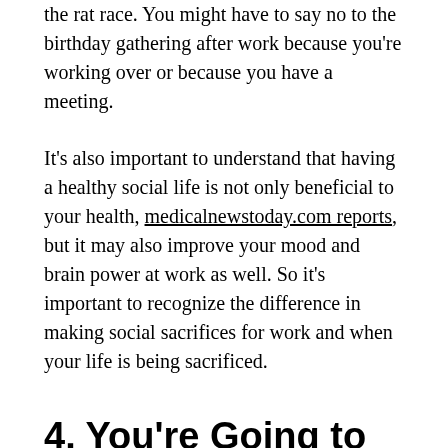the rat race. You might have to say no to the birthday gathering after work because you're working over or because you have a meeting.
It's also important to understand that having a healthy social life is not only beneficial to your health, medicalnewstoday.com reports, but it may also improve your mood and brain power at work as well. So it's important to recognize the difference in making social sacrifices for work and when your life is being sacrificed.
4. You're Going to Sacrifice Your Energy
You might have to work late nights, early mornings, and load up on coffee but that's just how dedicated you are